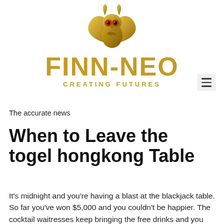[Figure (logo): Gold owl mascot logo for FINN-NEO brand]
FINN-NEO
CREATING FUTURES
The accurate news
When to Leave the togel hongkong Table
It's midnight and you're having a blast at the blackjack table. So far you've won $5,000 and you couldn't be happier. The cocktail waitresses keep bringing the free drinks and you